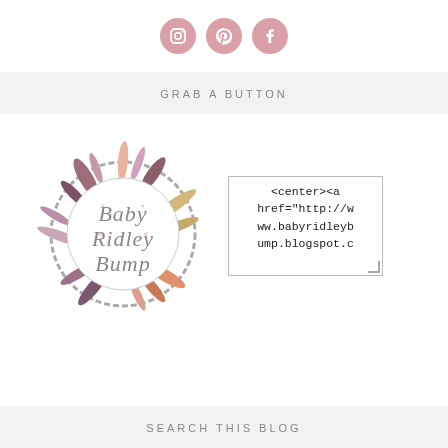[Figure (illustration): Three social media icons (Instagram, Pinterest, Facebook) as pink circular buttons]
GRAB A BUTTON
[Figure (logo): Baby Ridley Bump blog logo — circular feather and twig wreath with script text 'Baby Ridley Bump' in grey]
<center><a href="http://www.babyridleybump.blogspot.c
SEARCH THIS BLOG